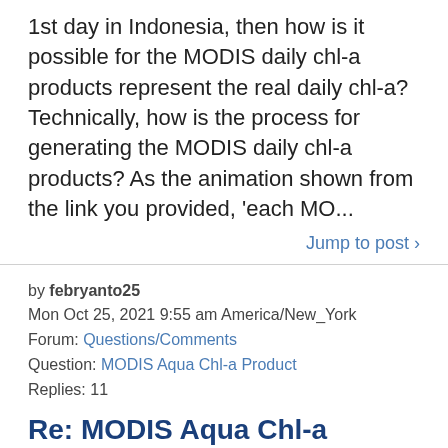1st day in Indonesia, then how is it possible for the MODIS daily chl-a products represent the real daily chl-a? Technically, how is the process for generating the MODIS daily chl-a products? As the animation shown from the link you provided, 'each MO...
Jump to post ›
by febryanto25
Mon Oct 25, 2021 9:55 am America/New_York
Forum: Questions/Comments
Question: MODIS Aqua Chl-a Product
Replies: 11
Re: MODIS Aqua Chl-a Product
Sorry, I still don't get the point. Firstly, the orbital period is 99 minutes means it takes 99 minutes for the Aqua satellite to move from the south pole to the north pole. Am I correct? Secondly, you mentioned over 24 hours we got 14.5...